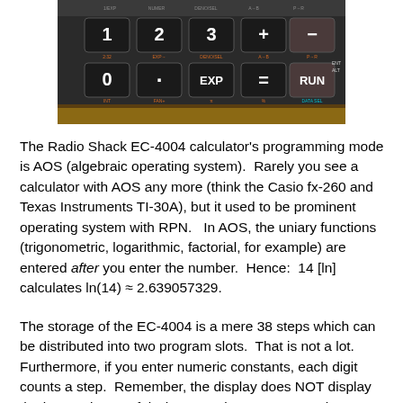[Figure (photo): Close-up photo of a Radio Shack EC-4004 calculator keypad showing keys including 1, 2, 3, +, -, 0, decimal point, EXP, =, and RUN buttons on a dark background.]
The Radio Shack EC-4004 calculator's programming mode is AOS (algebraic operating system).  Rarely you see a calculator with AOS any more (think the Casio fx-260 and Texas Instruments TI-30A), but it used to be prominent operating system with RPN.   In AOS, the uniary functions (trigonometric, logarithmic, factorial, for example) are entered after you enter the number.  Hence:  14 [ln] calculates ln(14) ≈ 2.639057329.
The storage of the EC-4004 is a mere 38 steps which can be distributed into two program slots.  That is not a lot.  Furthermore, if you enter numeric constants, each digit counts a step.  Remember, the display does NOT display the key, so be careful when entering programs.  There are a few